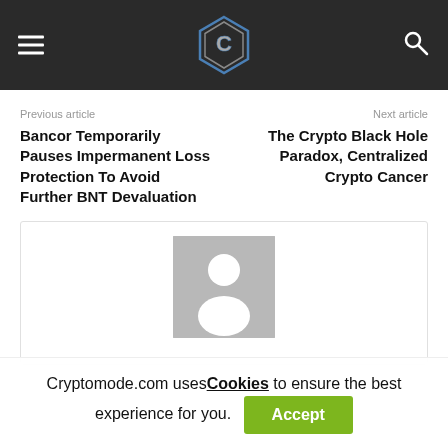[Cryptomode logo with hamburger menu and search icon]
Previous article
Bancor Temporarily Pauses Impermanent Loss Protection To Avoid Further BNT Devaluation
Next article
The Crypto Black Hole Paradox, Centralized Crypto Cancer
[Figure (illustration): Generic user avatar placeholder image — grey square with white silhouette of a person]
Cryptomode.com uses Cookies to ensure the best experience for you. Accept